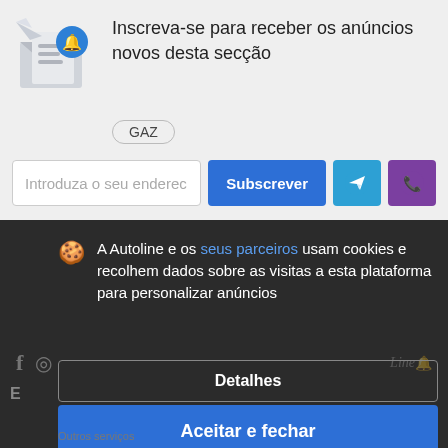[Figure (illustration): Envelope with document and blue notification bell icon]
Inscreva-se para receber os anúncios novos desta secção
GAZ
Introduza o seu enderec
Subscrever
[Figure (logo): Telegram icon button]
[Figure (logo): Viber icon button]
A Autoline e os seus parceiros usam cookies e recolhem dados sobre as visitas a esta plataforma para personalizar anúncios
Detalhes
Aceitar e fechar